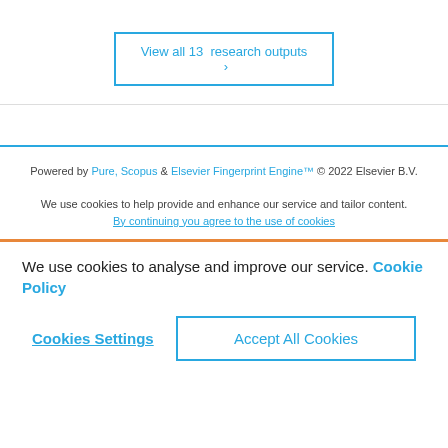View all 13 research outputs ›
Powered by Pure, Scopus & Elsevier Fingerprint Engine™ © 2022 Elsevier B.V.
We use cookies to help provide and enhance our service and tailor content.
We use cookies to analyse and improve our service. Cookie Policy
Cookies Settings  |  Accept All Cookies